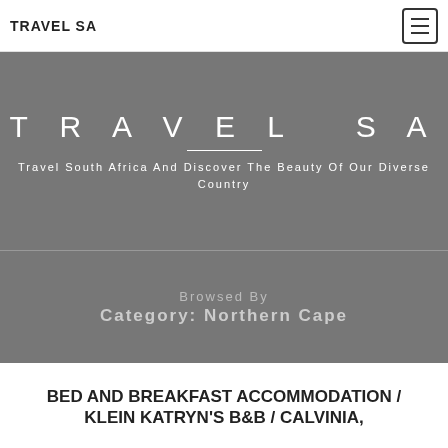TRAVEL SA
TRAVEL SA
Travel South Africa And Discover The Beauty Of Our Diverse Country
Browsed By Category: Northern Cape
BED AND BREAKFAST ACCOMMODATION / KLEIN KATRYN'S B&B / CALVINIA,